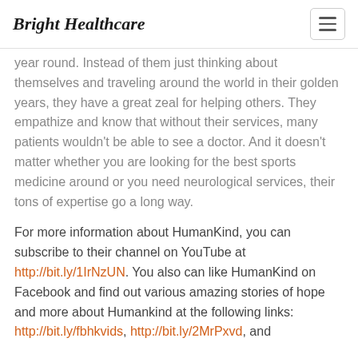Bright Healthcare
year round. Instead of them just thinking about themselves and traveling around the world in their golden years, they have a great zeal for helping others. They empathize and know that without their services, many patients wouldn't be able to see a doctor. And it doesn't matter whether you are looking for the best sports medicine around or you need neurological services, their tons of expertise go a long way.
For more information about HumanKind, you can subscribe to their channel on YouTube at http://bit.ly/1IrNzUN. You also can like HumanKind on Facebook and find out various amazing stories of hope and more about Humankind at the following links: http://bit.ly/fbhkvids, http://bit.ly/2MrPxvd, and